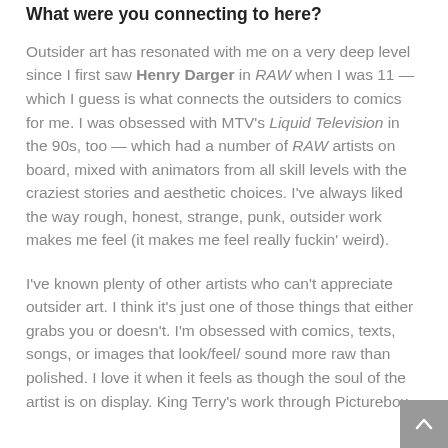What were you connecting to here?
Outsider art has resonated with me on a very deep level since I first saw Henry Darger in RAW when I was 11 — which I guess is what connects the outsiders to comics for me. I was obsessed with MTV's Liquid Television in the 90s, too — which had a number of RAW artists on board, mixed with animators from all skill levels with the craziest stories and aesthetic choices. I've always liked the way rough, honest, strange, punk, outsider work makes me feel (it makes me feel really fuckin' weird).
I've known plenty of other artists who can't appreciate outsider art. I think it's just one of those things that either grabs you or doesn't. I'm obsessed with comics, texts, songs, or images that look/feel/ sound more raw than polished. I love it when it feels as though the soul of the artist is on display. King Terry's work through Picturebox